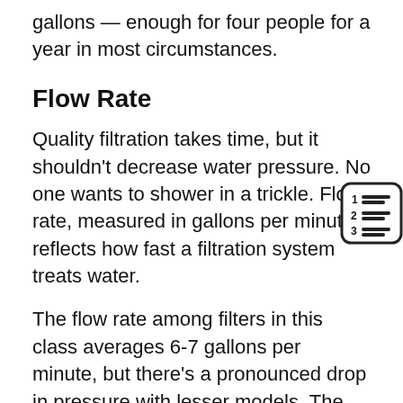gallons — enough for four people for a year in most circumstances.
Flow Rate
Quality filtration takes time, but it shouldn't decrease water pressure. No one wants to shower in a trickle. Flow rate, measured in gallons per minute, reflects how fast a filtration system treats water.
[Figure (illustration): Numbered list icon showing lines next to numbers 1, 2, 3 in a rounded square]
The flow rate among filters in this class averages 6-7 gallons per minute, but there's a pronounced drop in pressure with lesser models. The SpringWell promises a brisk 8 GPM flow — that's plenty to take a shower